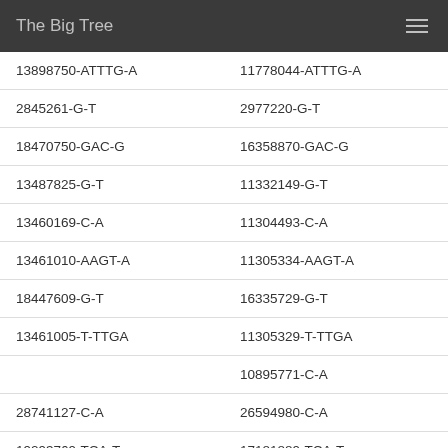The Big Tree
| Column1 | Column2 |
| --- | --- |
| 13898750-ATTTG-A | 11778044-ATTTG-A |
| 2845261-G-T | 2977220-G-T |
| 18470750-GAC-G | 16358870-GAC-G |
| 13487825-G-T | 11332149-G-T |
| 13460169-C-A | 11304493-C-A |
| 13461010-AAGT-A | 11305334-AAGT-A |
| 18447609-G-T | 16335729-G-T |
| 13461005-T-TTGA | 11305329-T-TTGA |
|  | 10895771-C-A |
| 28741127-C-A | 26594980-C-A |
| 19293769-TCA-T | 17181889-TCA-T |